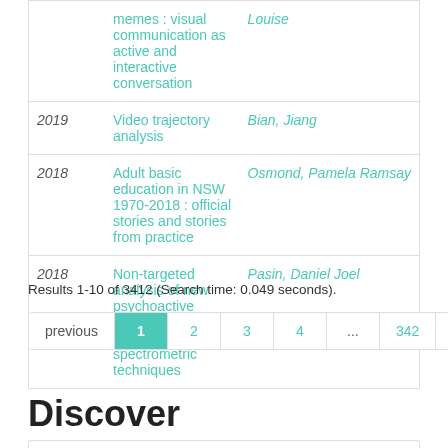| Year | Title | Author |
| --- | --- | --- |
|  | memes : visual communication as active and interactive conversation | Louise |
| 2019 | Video trajectory analysis | Bian, Jiang |
| 2018 | Adult basic education in NSW 1970-2018 : official stories and stories from practice | Osmond, Pamela Ramsay |
| 2018 | Non-targeted analysis of new psychoactive substances using mass spectrometric techniques | Pasin, Daniel Joel |
Results 1-10 of 3412 (Search time: 0.049 seconds).
previous 1 2 3 4 ... 342 next
Discover